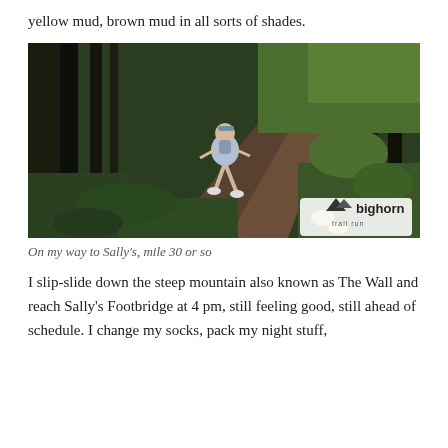yellow mud, brown mud in all sorts of shades.
[Figure (photo): A runner on a forest trail surrounded by tall dark trees and lush green undergrowth, with a 'bighorn trail run' watermark in the bottom right corner.]
On my way to Sally's, mile 30 or so
I slip-slide down the steep mountain also known as The Wall and reach Sally's Footbridge at 4 pm, still feeling good, still ahead of schedule. I change my socks, pack my night stuff,